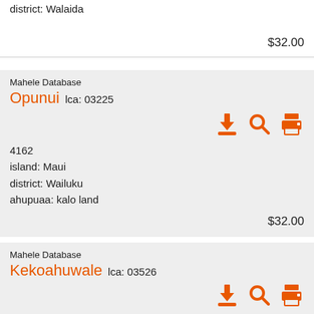district: Walaida
$32.00
Mahele Database
Opunui  lca: 03225
[Figure (infographic): Three orange icons: download, search (magnifier), print]
4162
island: Maui
district: Wailuku
ahupuaa: kalo land
$32.00
Mahele Database
Kekoahuwale  lca: 03526
[Figure (infographic): Three orange icons: download, search (magnifier), print]